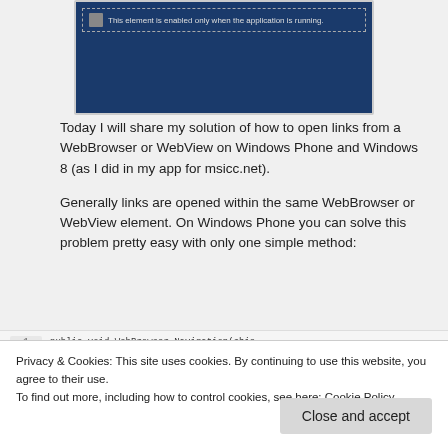[Figure (screenshot): A Windows Phone UI designer screenshot showing a blue background with a text element saying 'This element is enabled only when the application is running.' in a dashed selection box.]
Today I will share my solution of how to open links from a WebBrowser or WebView on Windows Phone and Windows 8 (as I did in my app for msicc.net).
Generally links are opened within the same WebBrowser or WebView element. On Windows Phone you can solve this problem pretty easy with only one simple method:
[Figure (screenshot): Code strip showing line 1 with partial code: public void WebBrowser_Navigation(chie...]
Privacy & Cookies: This site uses cookies. By continuing to use this website, you agree to their use.
To find out more, including how to control cookies, see here: Cookie Policy
In Windows 8 this gets a bit more complex. There is